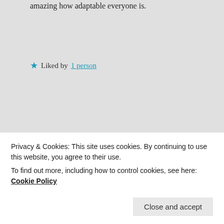amazing how adaptable everyone is.
Liked by 1 person
S_MW on April 29, 2020 at 9:58 pm said:
I haven't suffered from depression for over 11 years now. I'm not 'cured' but I'm as better as I'll ever
Privacy & Cookies: This site uses cookies. By continuing to use this website, you agree to their use. To find out more, including how to control cookies, see here: Cookie Policy
(both humour and serious shit),